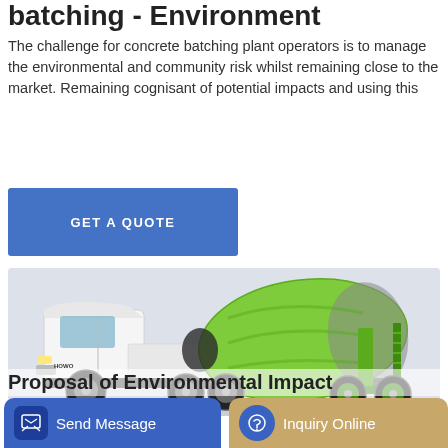batching - Environment
The challenge for concrete batching plant operators is to manage the environmental and community risk whilst remaining close to the market. Remaining cognisant of potential impacts and using this
[Figure (other): Blue GET A QUOTE button]
[Figure (photo): A white and green concrete mixer truck (HOWO brand) with a large green and grey rotating drum on the back, photographed against a light grey/white background.]
Proposal of Environmental Impact
[Figure (other): Send Message button (blue) and Inquiry Online button (tan/gold) at bottom of page]